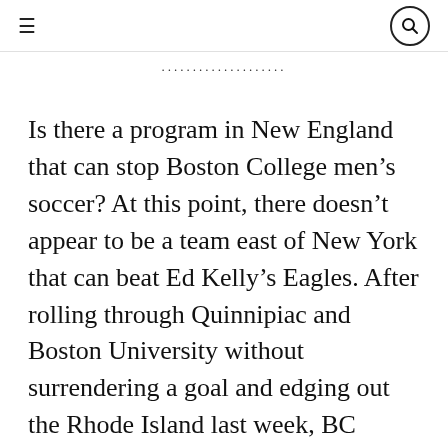≡  🔍
......................
Is there a program in New England that can stop Boston College men's soccer? At this point, there doesn't appear to be a team east of New York that can beat Ed Kelly's Eagles. After rolling through Quinnipiac and Boston University without surrendering a goal and edging out the Rhode Island last week, BC headed to Worcester, Mass., and escaped a hard-fought match with Holy Cross behind an 83rd-minute game-winner from Jesus Sahagun.